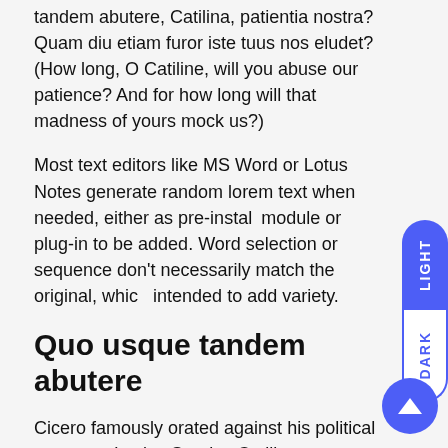tandem abutere, Catilina, patientia nostra? Quam diu etiam furor iste tuus nos eludet? (How long, O Catiline, will you abuse our patience? And for how long will that madness of yours mock us?)
Most text editors like MS Word or Lotus Notes generate random lorem text when needed, either as pre-installed module or plug-in to be added. Word selection or sequence don't necessarily match the original, which is intended to add variety.
Quo usque tandem abutere
Cicero famously orated against his political opponent Lucius Sergius Catilina. Occasionally the first Oration against Catiline is taken for type specimens: Quo usque tandem abutere, Catilina, patientia nostra? Quam diu etiam furor iste tuus nos eludet?